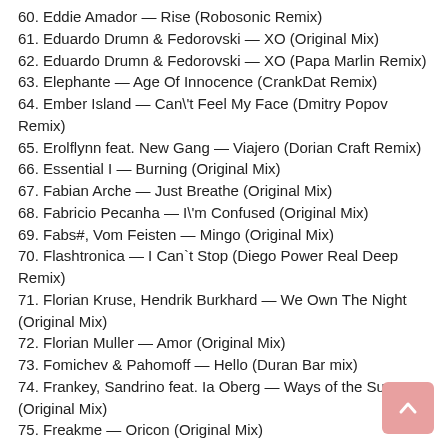60. Eddie Amador — Rise (Robosonic Remix)
61. Eduardo Drumn & Fedorovski — XO (Original Mix)
62. Eduardo Drumn & Fedorovski — XO (Papa Marlin Remix)
63. Elephante — Age Of Innocence (CrankDat Remix)
64. Ember Island — Can\'t Feel My Face (Dmitry Popov Remix)
65. Erolflynn feat. New Gang — Viajero (Dorian Craft Remix)
66. Essential I — Burning (Original Mix)
67. Fabian Arche — Just Breathe (Original Mix)
68. Fabricio Pecanha — I\'m Confused (Original Mix)
69. Fabs#, Vom Feisten — Mingo (Original Mix)
70. Flashtronica — I Can`t Stop (Diego Power Real Deep Remix)
71. Florian Kruse, Hendrik Burkhard — We Own The Night (Original Mix)
72. Florian Muller — Amor (Original Mix)
73. Fomichev & Pahomoff — Hello (Duran Bar mix)
74. Frankey, Sandrino feat. Ia Oberg — Ways of the Sun (Original Mix)
75. Freakme — Oricon (Original Mix)